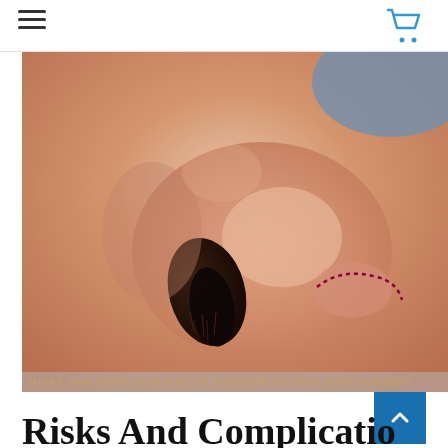Navigation header with hamburger menu and shopping cart icon
[Figure (photo): Close-up medical photograph of a human nose from below, showing nostril anatomy with dotted surgical marking lines on the right nostril area. Text overlay at bottom reads: RISKS AND COMPLICATIONS OF REVISION RHINOPLASTY SURGERY]
Risks And Complicatio...